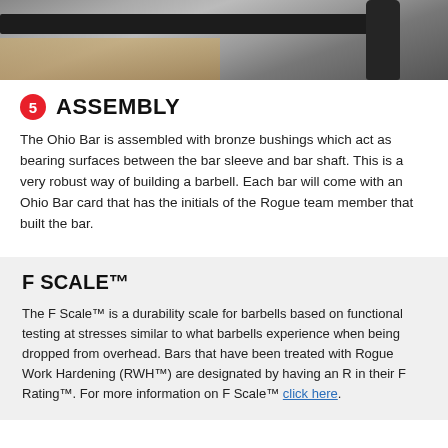[Figure (photo): Close-up photo of a barbell shaft resting on a wooden surface, showing the dark metal bar with a sleeve/collar detail visible]
5 ASSEMBLY
The Ohio Bar is assembled with bronze bushings which act as bearing surfaces between the bar sleeve and bar shaft. This is a very robust way of building a barbell. Each bar will come with an Ohio Bar card that has the initials of the Rogue team member that built the bar.
F SCALE™
The F Scale™ is a durability scale for barbells based on functional testing at stresses similar to what barbells experience when being dropped from overhead. Bars that have been treated with Rogue Work Hardening (RWH™) are designated by having an R in their F Rating™. For more information on F Scale™ click here.